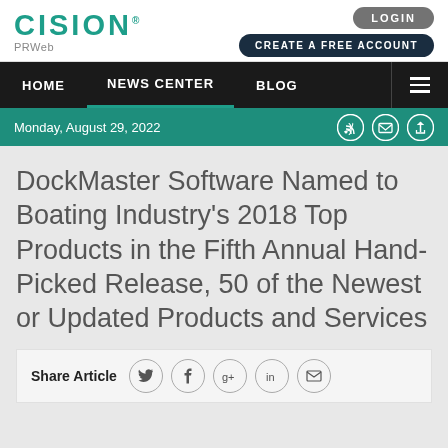[Figure (logo): CISION PRWeb logo in teal/green color]
LOGIN
CREATE A FREE ACCOUNT
HOME  NEWS CENTER  BLOG
Monday, August 29, 2022
DockMaster Software Named to Boating Industry's 2018 Top Products in the Fifth Annual Hand-Picked Release, 50 of the Newest or Updated Products and Services
Share Article